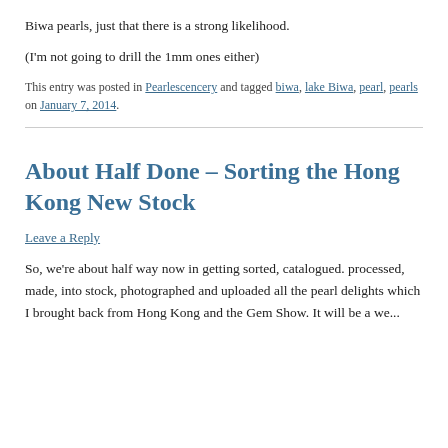Biwa pearls, just that there is a strong likelihood.
(I'm not going to drill the 1mm ones either)
This entry was posted in Pearlescencery and tagged biwa, lake Biwa, pearl, pearls on January 7, 2014.
About Half Done – Sorting the Hong Kong New Stock
Leave a Reply
So, we're about half way now in getting sorted, catalogued. processed, made, into stock, photographed and uploaded all the pearl delights which I brought back from Hong Kong and the Gem Show. It will be a we...